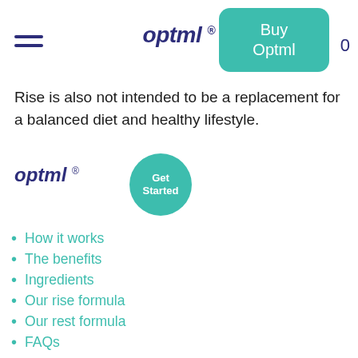optml ®
Rise is also not intended to be a replacement for a balanced diet and healthy lifestyle.
optml ®
[Figure (other): Teal circle button with text 'Get Started']
How it works
The benefits
Ingredients
Our rise formula
Our rest formula
FAQs
About us
Our mission
Wellness blog